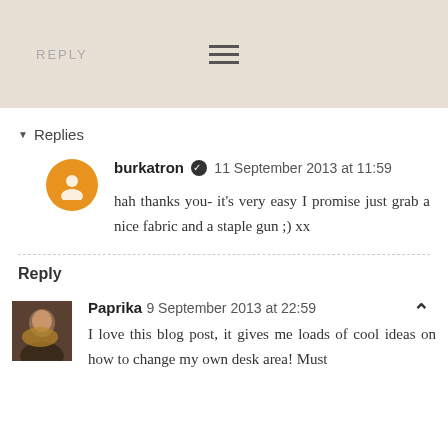REPLY
Replies
burkatron ✓ 11 September 2013 at 11:59

hah thanks you- it's very easy I promise just grab a nice fabric and a staple gun ;) xx
Reply
Paprika 9 September 2013 at 22:59

I love this blog post, it gives me loads of cool ideas on how to change my own desk area! Must